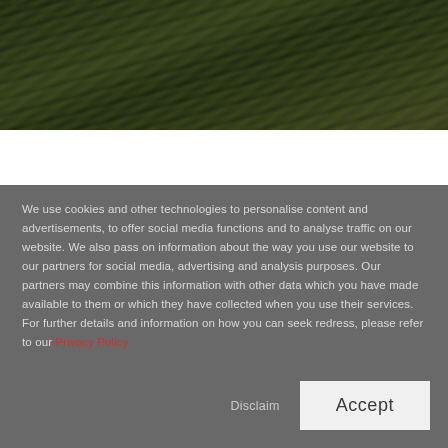[Figure (photo): Aerial or close-up photo of dark green grassy terrain or field, textured with light and shadow, taken at an angle.]
We use cookies and other technologies to personalise content and advertisements, to offer social media functions and to analyse traffic on our website. We also pass on information about the way you use our website to our partners for social media, advertising and analysis purposes. Our partners may combine this information with other data which you have made available to them or which they have collected when you use their services. For further details and information on how you can seek redress, please refer to our Privacy Policy